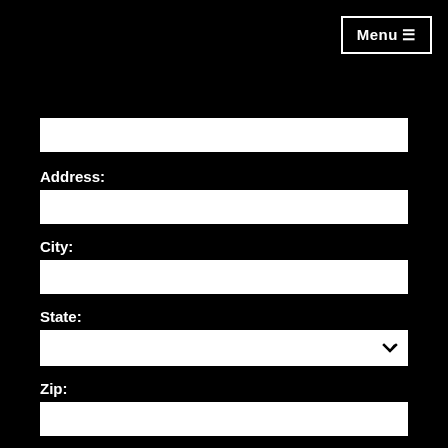Menu ☰
Address:
City:
State:
Zip:
Phone Number:
Best Time To Call